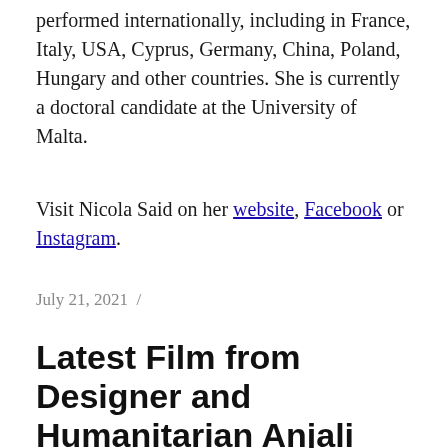performed internationally, including in France, Italy, USA, Cyprus, Germany, China, Poland, Hungary and other countries. She is currently a doctoral candidate at the University of Malta.
Visit Nicola Said on her website, Facebook or Instagram.
July 21, 2021  /
Latest Film from Designer and Humanitarian Anjali Phougat Calls for Kindness and Inclusivity